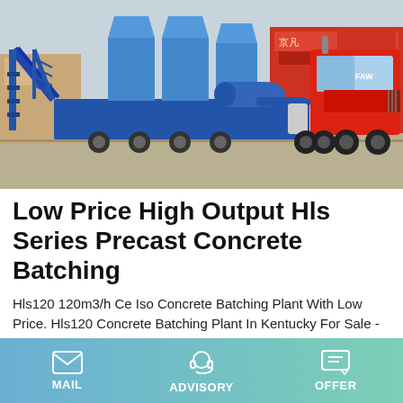[Figure (photo): A large blue mobile concrete batching plant mounted on a trailer, being towed by a red heavy-duty truck. The equipment includes conveyor belts, silos, and mixing machinery. Background shows a construction yard with red signage in Chinese.]
Low Price High Output Hls Series Precast Concrete Batching
Hls120 120m3/h Ce Iso Concrete Batching Plant With Low Price. Hls120 Concrete Batching Plant In Kentucky For Sale - Buy. Concrete Batching Plant In Kentucky For Sale Find Complete Details about Hls120 Concrete Batching Plant In Kentucky For SaleMobile Concrete PlantConcrete Batching Plant PriceSmall Concrete Batching Plant from Supplier or
MAIL   ADVISORY   OFFER